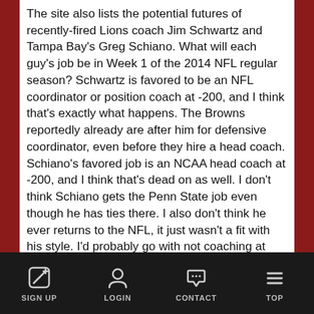The site also lists the potential futures of recently-fired Lions coach Jim Schwartz and Tampa Bay's Greg Schiano. What will each guy's job be in Week 1 of the 2014 NFL regular season? Schwartz is favored to be an NFL coordinator or position coach at -200, and I think that's exactly what happens. The Browns reportedly already are after him for defensive coordinator, even before they hire a head coach. Schiano's favored job is an NCAA head coach at -200, and I think that's dead on as well. I don't think Schiano gets the Penn State job even though he has ties there. I also don't think he ever returns to the NFL, it just wasn't a fit with his style. I'd probably go with not coaching at +300 and then some school will hire Schiano after next season.
Current Patriots offensive coordinator and former Broncos coach Josh McDaniels is a hot name, and he's +150 to be a head coach in the NFL next season and -200 to not be. The job you most hear McDaniels
SIGN UP   LOGIN   CONTACT   TOP